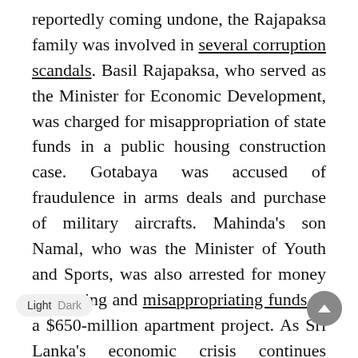reportedly coming undone, the Rajapaksa family was involved in several corruption scandals. Basil Rajapaksa, who served as the Minister for Economic Development, was charged for misappropriation of state funds in a public housing construction case. Gotabaya was accused of fraudulence in arms deals and purchase of military aircrafts. Mahinda's son Namal, who was the Minister of Youth and Sports, was also arrested for money laundering and misappropriating funds in a $650-million apartment project. As Sri Lanka's economic crisis continues spiralling downwards, Sri Lankans have directed their anger towards the Rajapaksa family who have been blamed for fiscal policy errors, significant tax cuts, and increased rates of